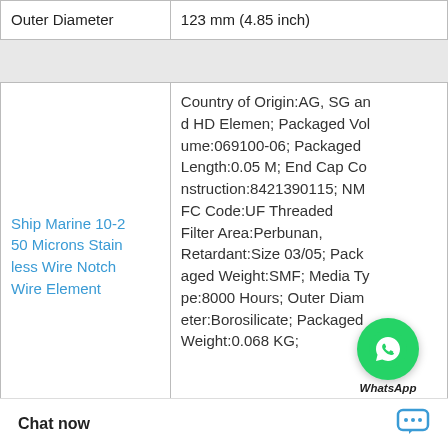| Outer Diameter | 123 mm (4.85 inch) |
| Ship Marine 10-250 Microns Stainless Wire Notch Wire Element | Country of Origin:AG, SG and HD Elemen; Packaged Volume:069100-06; Packaged Length:0.05 M; End Cap Construction:8421390115; NMFC Code:UF Threaded; Filter Area:Perbunan; Retardant:Size 03/05; Packaged Weight:SMF; Media Type:8000 Hours; Outer Diameter:Borosilicate; Packaged Weight:0.068 KG; |
|  | Packaged Weight:069100-06; Country of Origin:4016150 5; Shape:0.05 M; HTS Cod e:304 Stainle; Temp Limit:Size 3/1; Ant i Threaded End P... |
Chat now